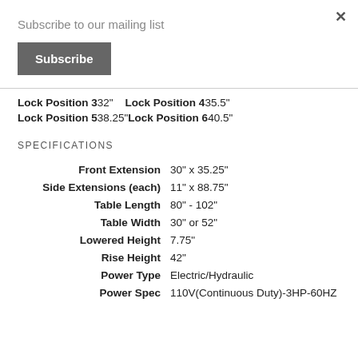Subscribe to our mailing list
Subscribe
Lock Position 3 32"    Lock Position 4 35.5"
Lock Position 5 38.25" Lock Position 6 40.5"
SPECIFICATIONS
| Specification | Value |
| --- | --- |
| Front Extension | 30" x 35.25" |
| Side Extensions (each) | 11" x 88.75" |
| Table Length | 80" - 102" |
| Table Width | 30" or 52" |
| Lowered Height | 7.75" |
| Rise Height | 42" |
| Power Type | Electric/Hydraulic |
| Power Spec | 110V(Continuous Duty)-3HP-60HZ |